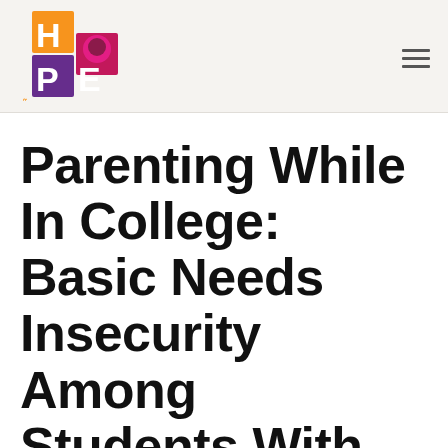[Figure (logo): The Hope Center logo — a colorful block design spelling HOPE with orange, pink/magenta, and purple squares and the text 'THE HOPE CENTER' vertically on the left side]
Parenting While In College: Basic Needs Insecurity Among Students With Children